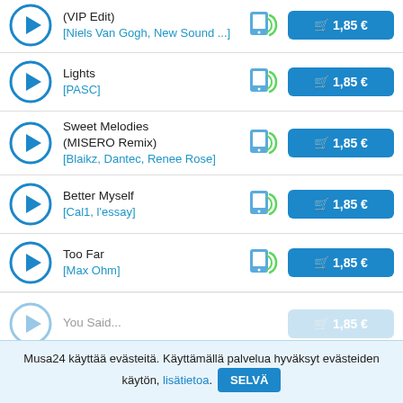(VIP Edit) [Niels Van Gogh, New Sound ...] — 1,85 €
Lights [PASC] — 1,85 €
Sweet Melodies (MISERO Remix) [Blaikz, Dantec, Renee Rose] — 1,85 €
Better Myself [Cal1, l'essay] — 1,85 €
Too Far [Max Ohm] — 1,85 €
You Said... (partial)
Musa24 käyttää evästeitä. Käyttämällä palvelua hyväksyt evästeiden käytön, lisätietoa. SELVÄ